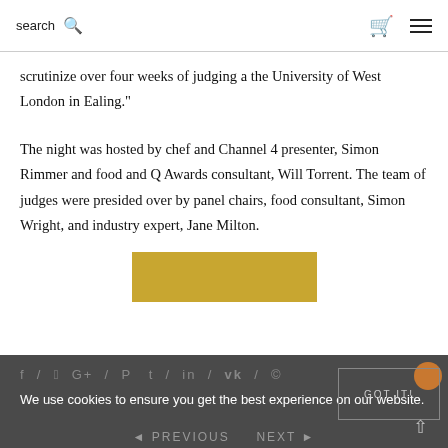search [search icon] [cart icon] [menu icon]
scrutinize over four weeks of judging a the University of West London in Ealing."
The night was hosted by chef and Channel 4 presenter, Simon Rimmer and food and Q Awards consultant, Will Torrent. The team of judges were presided over by panel chairs, food consultant, Simon Wright, and industry expert, Jane Milton.
[Figure (other): Gold/yellow rectangular button]
SHARE THIS ARTICLE
f / [twitter] G+ / P [pinterest] t / in / [vk] / © [email] [heart]
We use cookies to ensure you get the best experience on our website.
GOT IT!
◂ PREVIOUS   NEXT ▸